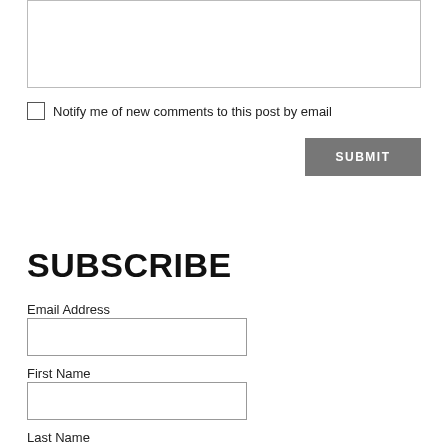[Figure (other): Empty text area input box with border]
Notify me of new comments to this post by email
SUBMIT
SUBSCRIBE
Email Address
[Figure (other): Email address input field]
First Name
[Figure (other): First Name input field]
Last Name